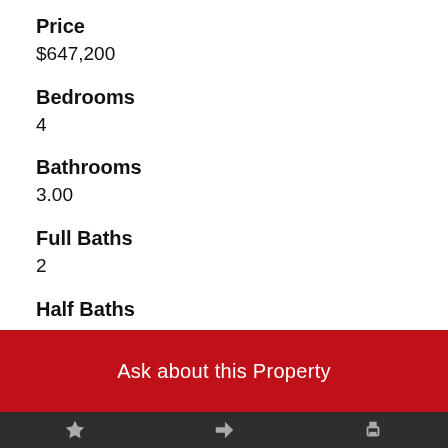Price
$647,200
Bedrooms
4
Bathrooms
3.00
Full Baths
2
Half Baths
1
Square Footage
Ask about this Property